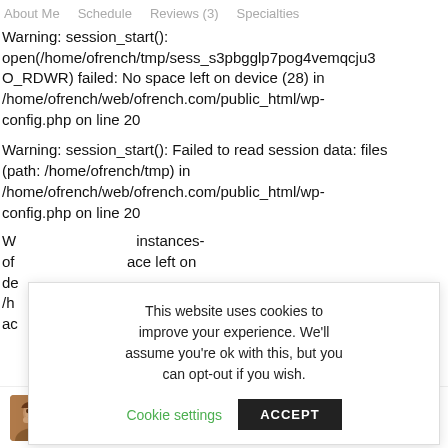About Me   Schedule   Reviews (3)   Specialties
Warning: session_start(): open(/home/ofrench/tmp/sess_s3pbgglp7pog4vemqcju3O_RDWR) failed: No space left on device (28) in /home/ofrench/web/ofrench.com/public_html/wp-config.php on line 20
Warning: session_start(): Failed to read session data: files (path: /home/ofrench/tmp) in /home/ofrench/web/ofrench.com/public_html/wp-config.php on line 20
W ... instances-of ... ace left on de ... /h ... html/wp- ac ... xt.php on line 185
This website uses cookies to improve your experience. We'll assume you're ok with this, but you can opt-out if you wish. Cookie settings  ACCEPT
$20.00 — 1 hour   BOOK